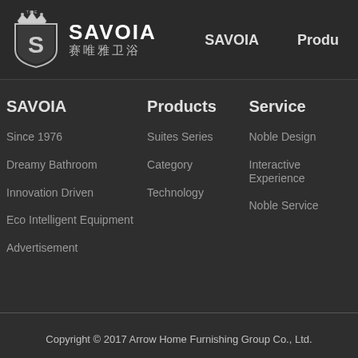[Figure (logo): Savoia Tile brand logo with shield emblem, crown, letter S, text SAVOIA and Chinese characters 赛唯雅卫浴]
SAVOIA   Produ
SAVOIA
Since 1976
Dreamy Bathroom
Innovation Driven
Eco Intelligent Equipment
Advertisement
Products
Suites Series
Category
Technology
Service
Noble Design
Interactive Experience
Noble Service
Copyright © 2017 Arrow Home Furnishing Group Co., Ltd.